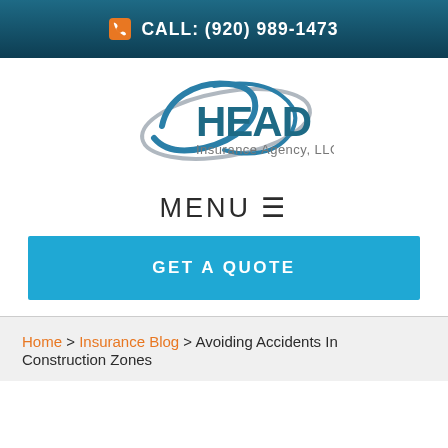CALL: (920) 989-1473
[Figure (logo): HEAD Insurance Agency, LLC logo with blue oval swoosh design]
MENU ≡
GET A QUOTE
Home > Insurance Blog > Avoiding Accidents In Construction Zones